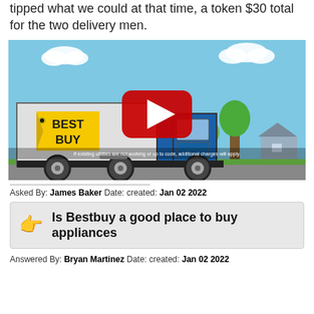tipped what we could at that time, a token $30 total for the two delivery men.
[Figure (screenshot): YouTube video thumbnail showing a Best Buy delivery truck animation with a YouTube play button overlay. The truck has a Best Buy logo tag on its side. Background shows blue sky, trees, clouds, and a house. Subtitle text at bottom reads: If existing utilities are not working or up to code, additional charges will apply.]
Asked By: James Baker Date: created: Jan 02 2022
Is Bestbuy a good place to buy appliances
Answered By: Bryan Martinez Date: created: Jan 02 2022